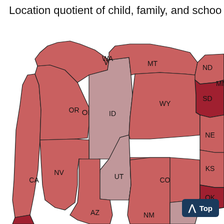Location quotient of child, family, and schoo
[Figure (map): Choropleth map of western United States showing location quotient of child, family, and school services by state. States shown include WA, OR, CA, ID, NV, MT, WY, UT, CO, AZ, NM, ND, SD, NE, KS, OK, MN. Colors range from light pink/mauve (lower values) to dark red (higher values). SD, ND, MN, OK appear darkest red. ID, UT appear lightest (mauve/gray-pink).]